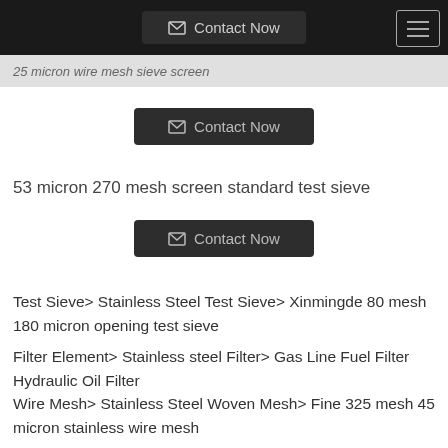Contact Now
25 micron wire mesh sieve screen
[Figure (other): Contact Now button with envelope icon]
53 micron 270 mesh screen standard test sieve
[Figure (other): Contact Now button with envelope icon]
Test Sieve> Stainless Steel Test Sieve> Xinmingde 80 mesh 180 micron opening test sieve
Filter Element> Stainless steel Filter> Gas Line Fuel Filter Hydraulic Oil Filter
Wire Mesh> Stainless Steel Woven Mesh> Fine 325 mesh 45 micron stainless wire mesh
Test Sieve> Stainless Steel Test Sieve> ISO3310 standard 14 mesh test sieve
Test Sieve> Stainless Steel Test Sieve> Stainless Steel...